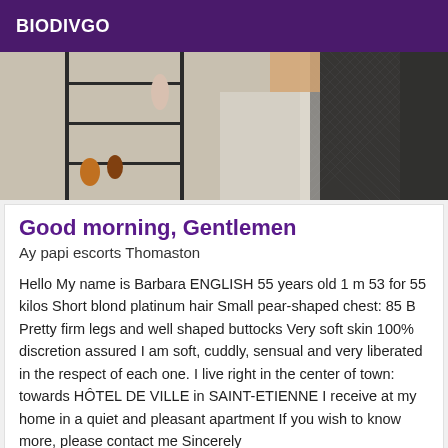BIODIVGO
[Figure (photo): Photo showing legs in fishnet stockings with a metal shelving unit and decorative items in the background]
Good morning, Gentlemen
Ay papi escorts Thomaston
Hello My name is Barbara ENGLISH 55 years old 1 m 53 for 55 kilos Short blond platinum hair Small pear-shaped chest: 85 B Pretty firm legs and well shaped buttocks Very soft skin 100% discretion assured I am soft, cuddly, sensual and very liberated in the respect of each one. I live right in the center of town: towards HÔTEL DE VILLE in SAINT-ETIENNE I receive at my home in a quiet and pleasant apartment If you wish to know more, please contact me Sincerely